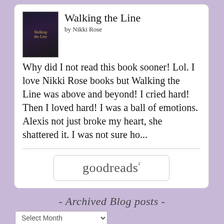[Figure (illustration): Book cover for 'Walking the Line' by Nikki Rose — dark cover with figure]
Walking the Line
by Nikki Rose
Why did I not read this book sooner! Lol. I love Nikki Rose books but Walking the Line was above and beyond! I cried hard! Then I loved hard! I was a ball of emotions. Alexis not just broke my heart, she shattered it. I was not sure ho...
[Figure (logo): Goodreads logo button with rounded rectangle border]
- Archived Blog posts -
Select Month